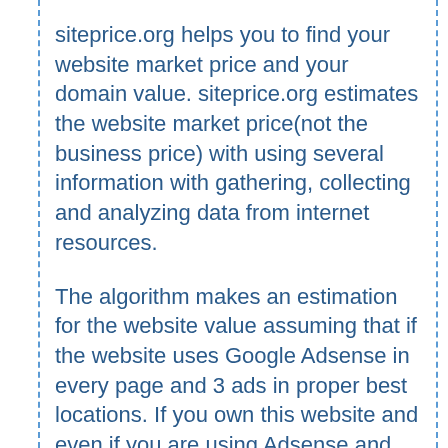siteprice.org helps you to find your website market price and your domain value. siteprice.org estimates the website market price(not the business price) with using several information with gathering, collecting and analyzing data from internet resources.
The algorithm makes an estimation for the website value assuming that if the website uses Google Adsense in every page and 3 ads in proper best locations. If you own this website and even if you are using Adsense and not getting a similar income, we would suggest to research ad placement to get better income.
To estimate the worth of a website, siteprice.org calculates with its own unique algorithm. If you want to sell your website or buy a website you'll probably need to know that "what is the